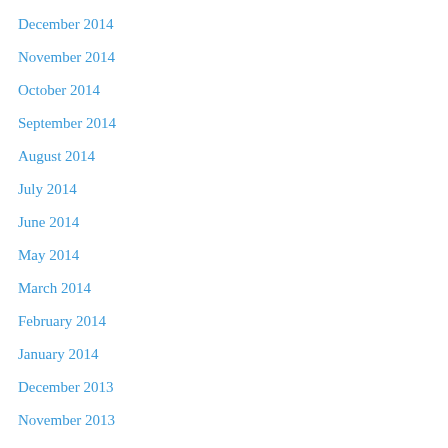December 2014
November 2014
October 2014
September 2014
August 2014
July 2014
June 2014
May 2014
March 2014
February 2014
January 2014
December 2013
November 2013
October 2013
September 2013
August 2013
July 2013
June 2013
May 2013
April 2013